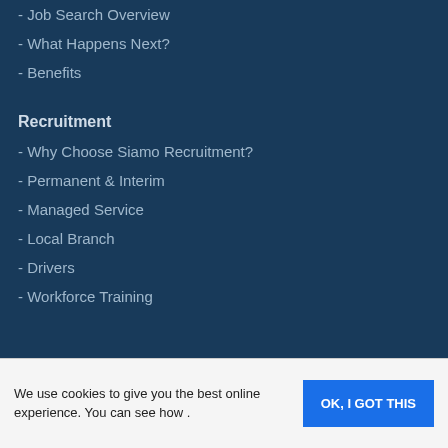- Job Search Overview
- What Happens Next?
- Benefits
Recruitment
- Why Choose Siamo Recruitment?
- Permanent & Interim
- Managed Service
- Local Branch
- Drivers
- Workforce Training
Training
- Why Choose Siamo Training?
We use cookies to give you the best online experience. You can see how .